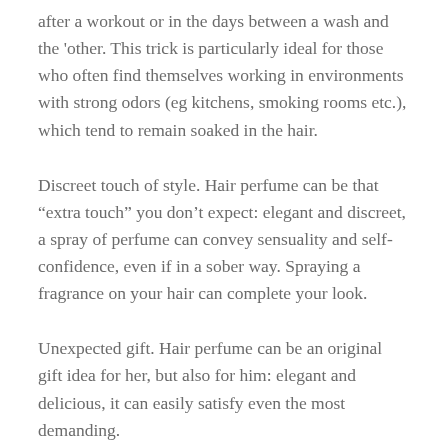after a workout or in the days between a wash and the 'other. This trick is particularly ideal for those who often find themselves working in environments with strong odors (eg kitchens, smoking rooms etc.), which tend to remain soaked in the hair.
Discreet touch of style. Hair perfume can be that “extra touch” you don’t expect: elegant and discreet, a spray of perfume can convey sensuality and self-confidence, even if in a sober way. Spraying a fragrance on your hair can complete your look.
Unexpected gift. Hair perfume can be an original gift idea for her, but also for him: elegant and delicious, it can easily satisfy even the most demanding.